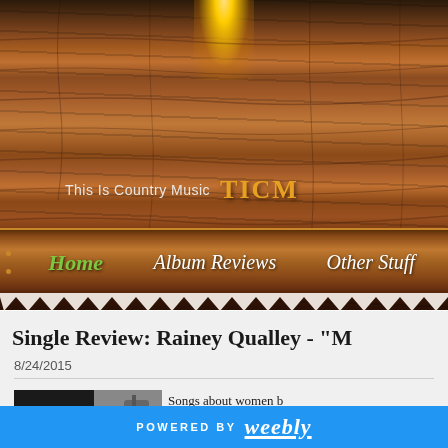[Figure (screenshot): Wooden plank background with overhead light effect for country music website header]
This Is Country Music TICM
Home  Album Reviews  Other Stuff
Single Review: Rainey Qualley - "M..."
8/24/2015
[Figure (photo): Album art showing 'ME AND' text with figure]
Songs about women b... new in Country musi...
POWERED BY weebly